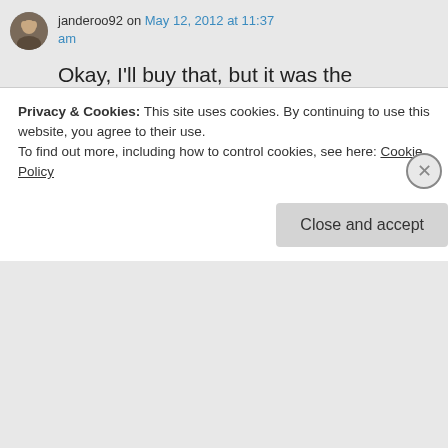janderoo92 on May 12, 2012 at 11:37 am
Okay, I'll buy that, but it was the amazingly sophisticated automaton and the clockworks that made me think it might cross the line.
★ Like
↳ Reply
Privacy & Cookies: This site uses cookies. By continuing to use this website, you agree to their use.
To find out more, including how to control cookies, see here: Cookie Policy
Close and accept